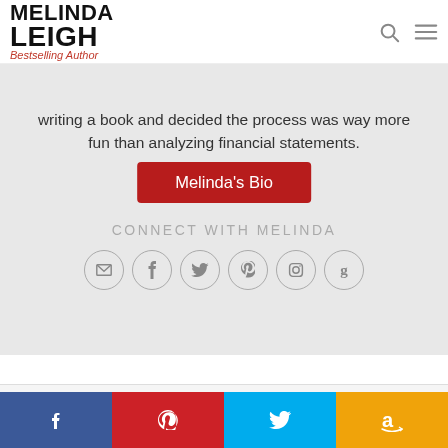MELINDA LEIGH Bestselling Author
writing a book and decided the process was way more fun than analyzing financial statements.
Melinda's Bio
CONNECT WITH MELINDA
[Figure (infographic): Row of social media icon circles: email, facebook, twitter, pinterest, instagram, goodreads]
Just Released September 18th 2018
[Figure (infographic): Social share bar with Facebook, Pinterest, Twitter, Amazon icons]